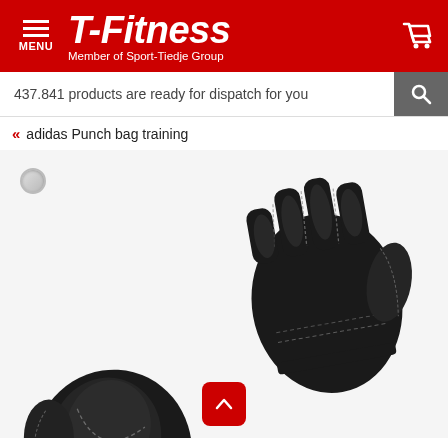T-Fitness — Member of Sport-Tiedje Group
437.841 products are ready for dispatch for you
« adidas Punch bag training
[Figure (photo): Two black adidas punch bag training gloves (MMA-style open-finger gloves) displayed overlapping on a white background. The gloves are made of black synthetic leather with visible stitching.]
↑ (back to top button)